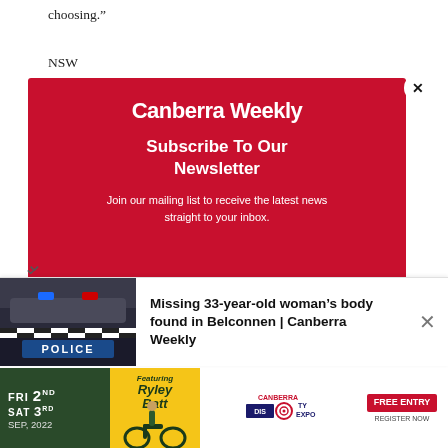choosing.”
NSW [partially obscured by modal] up for th[e] ... m a chall[enge]
Ada[m] ... d braw[l]
“The[...]”
Bor[n ...] carpe[t ...]
[Figure (screenshot): Canberra Weekly newsletter subscription modal overlay with red background. Logo reads 'Canberra Weekly', heading says 'Subscribe To Our Newsletter', body text says 'Join our mailing list to receive the latest news straight to your inbox.' A white circle close button (X) is in the top right.]
[Figure (screenshot): Bottom notification bar showing a police car image on the left and text: 'Missing 33-year-old woman’s body found in Belconnen | Canberra Weekly' on the right, with a close X button.]
[Figure (screenshot): Advertisement banner at the bottom for Canberra Disability Expo featuring Ryley Batt, FRI 2ND SAT 3RD SEP, 2022. Free Entry, Register Now.]